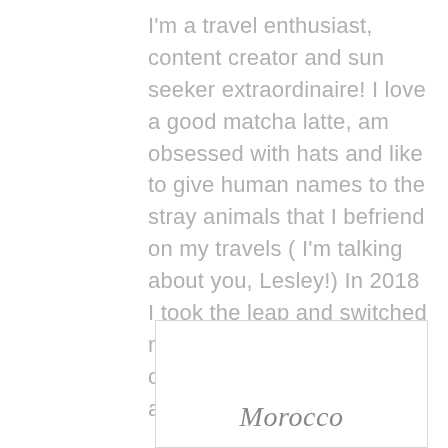I'm a travel enthusiast, content creator and sun seeker extraordinaire! I love a good matcha latte, am obsessed with hats and like to give human names to the stray animals that I befriend on my travels ( I'm talking about you, Lesley!) In 2018 I took the leap and switched my London lifestyle for continuous adventures abroad.
[Figure (other): A postcard-style card with a cursive 'Top' tag in upper right corner and 'Morocco' written in cursive script at the bottom center]